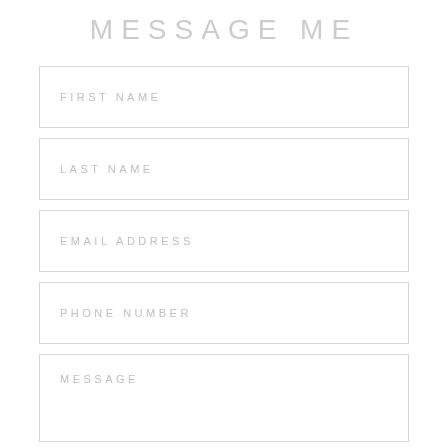MESSAGE ME
FIRST NAME
LAST NAME
EMAIL ADDRESS
PHONE NUMBER
MESSAGE